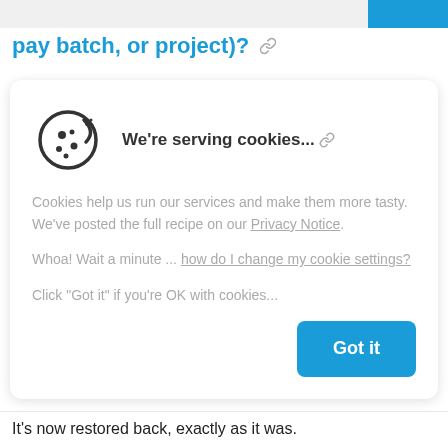pay batch, or project)?
We're serving cookies...
Cookies help us run our services and make them more tasty. We've posted the full recipe on our Privacy Notice.
Whoa! Wait a minute ... how do I change my cookie settings?
Click "Got it" if you're OK with cookies...
Got it
It's now restored back, exactly as it was.